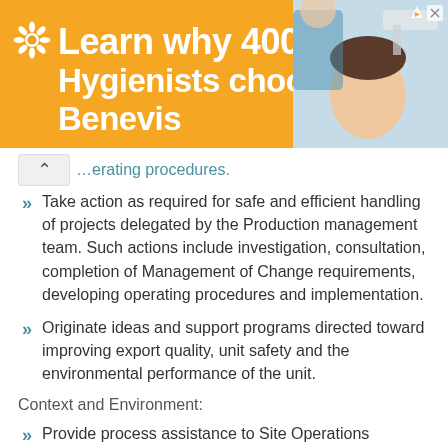[Figure (other): Orange advertisement banner: 'Learn why 400+ Hygienists choose Benevis' with a sunflower/daisy icon and a photo of a child at a dental appointment. AdChoices and close button visible.]
…erating procedures.
Take action as required for safe and efficient handling of projects delegated by the Production management team. Such actions include investigation, consultation, completion of Management of Change requirements, developing operating procedures and implementation.
Originate ideas and support programs directed toward improving export quality, unit safety and the environmental performance of the unit.
Context and Environment:
Provide process assistance to Site Operations